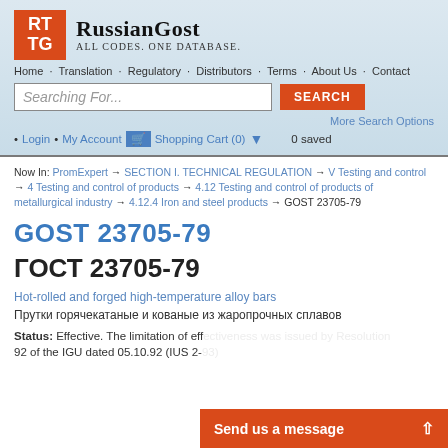[Figure (logo): RussianGOST logo with orange RT/TG square and text 'RussianGost - All codes. One Database.']
Home · Translation · Regulatory · Distributors · Terms · About Us · Contact
Searching For...
More Search Options
• Login • My Account 🛒 Shopping Cart (0) ▼ 0 saved
Now In: PromExpert → SECTION I. TECHNICAL REGULATION → V Testing and control → 4 Testing and control of products → 4.12 Testing and control of products of metallurgical industry → 4.12.4 Iron and steel products → GOST 23705-79
GOST 23705-79
ГОСТ 23705-79
Hot-rolled and forged high-temperature alloy bars
Прутки горячекатаные и кованые из жаропрочных сплавов
Status: Effective. The limitation of eff... 92 of the IGU dated 05.10.92 (IUS 2-
Send us a message